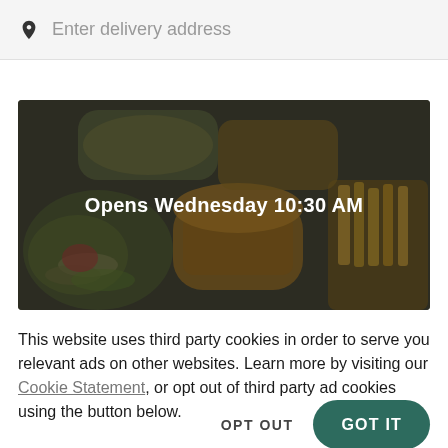Enter delivery address
[Figure (photo): Overhead photo of food items including burgers, sandwiches, and fries on a dark background with overlay text 'Opens Wednesday 10:30 AM']
This website uses third party cookies in order to serve you relevant ads on other websites. Learn more by visiting our Cookie Statement, or opt out of third party ad cookies using the button below.
OPT OUT
GOT IT